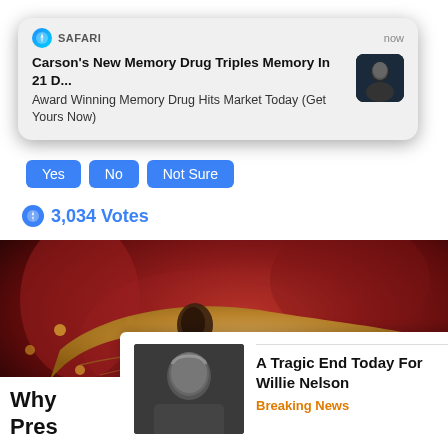[Figure (screenshot): Safari browser push notification popup with title 'Carson's New Memory Drug Triples Memory In 21 D...' and subtitle 'Award Winning Memory Drug Hits Market Today (Get Yours Now)', with a thumbnail photo of a man, timestamp 'now']
Yes  No  Not Sure
3,034 Votes
[Figure (photo): Medical illustration of a human organ (pancreas/intestine) in red/brown tones with golden yellow organ visible]
A Tragic End Today For Willie Nelson
Breaking News
Why Pres